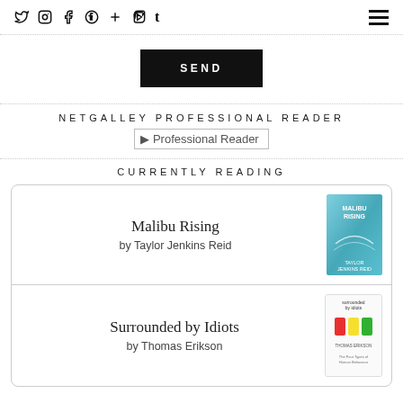Social media icons: twitter, instagram, facebook, pinterest, plus, tumblr; hamburger menu
[Figure (other): SEND button - black rectangle with white uppercase text 'SEND']
NETGALLEY PROFESSIONAL READER
[Figure (other): Professional Reader badge - broken image placeholder with alt text 'Professional Reader']
CURRENTLY READING
Malibu Rising by Taylor Jenkins Reid
Surrounded by Idiots by Thomas Erikson